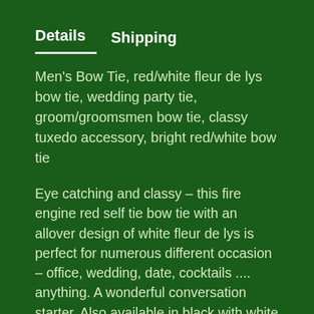Details  Shipping
Men's Bow Tie, red/white fleur de lys bow tie, wedding party tie, groom/groomsmen bow tie, classy tuxedo accessory, bright red/white bow tie
Eye catching and classy - this fire engine red self tie bow tie with an allover design of white fleur de lys is perfect for numerous different occasion - office, wedding, date, cocktails .... anything. A wonderful conversation starter. Also available in black with white fleur de lys (see last photo).
The 100% cotton self tie bow tie has a hook for easy removal that allows the tie to remain